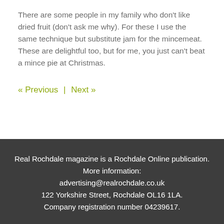There are some people in my family who don't like dried fruit (don't ask me why). For these I use the same technique but substitute jam for the mincemeat. These are delightful too, but for me, you just can't beat a mince pie at Christmas.
« Previous | Next »
Real Rochdale magazine is a Rochdale Online publication. More information: advertising@realrochdale.co.uk 122 Yorkshire Street, Rochdale OL16 1LA. Company registration number 04239617.